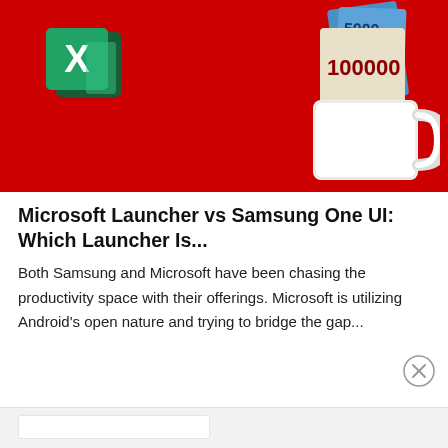[Figure (photo): Photo on red background showing Microsoft Excel logo on the left and a white mug filled with Indonesian Rupiah banknotes (50000 and 100000 denominations) on the right]
Microsoft Launcher vs Samsung One UI: Which Launcher Is...
Both Samsung and Microsoft have been chasing the productivity space with their offerings. Microsoft is utilizing Android's open nature and trying to bridge the gap...